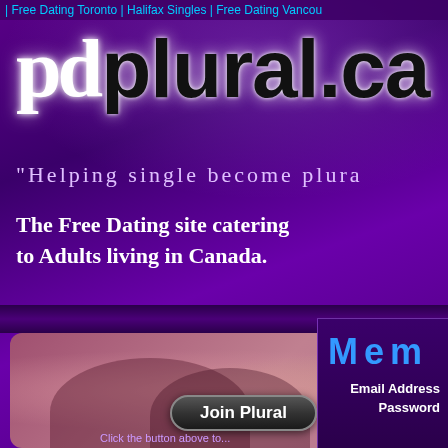| Free Dating Toronto | Halifax Singles | Free Dating Vancou
pd plural.ca
"Helping single become plura
The Free Dating site catering to Adults living in Canada.
[Figure (photo): Photo of a couple, partially visible, with pink/warm tones on a purple background]
Join Plural
Click the button above to...
Mem
Email Address
Password